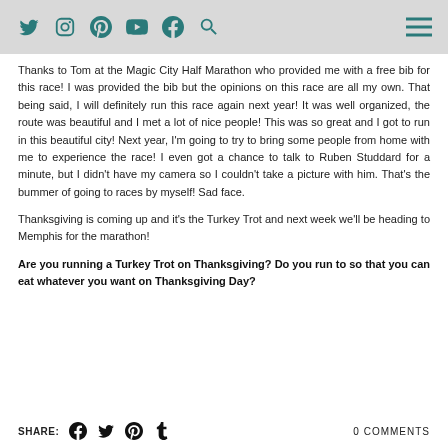Social media navigation bar with icons: Twitter, Instagram, Pinterest, YouTube, Facebook, Search, and hamburger menu
Thanks to Tom at the Magic City Half Marathon who provided me with a free bib for this race!  I was provided the bib but the opinions on this race are all my own.  That being said, I will definitely run this race again next year!  It was well organized, the route was beautiful and I met a lot of nice people!  This was so great and I got to run in this beautiful city!  Next year, I'm going to try to bring some people from home with me to experience the race! I even got a chance to talk to Ruben Studdard for a minute, but I didn't have my camera so I couldn't take a picture with him.  That's the bummer of going to races by myself! Sad face.
Thanksgiving is coming up and it's the Turkey Trot and next week we'll be heading to Memphis for the marathon!
Are you running a Turkey Trot on Thanksgiving?  Do you run to so that you can eat whatever you want on Thanksgiving Day?
SHARE: [Facebook] [Twitter] [Pinterest] [Tumblr]   0 COMMENTS